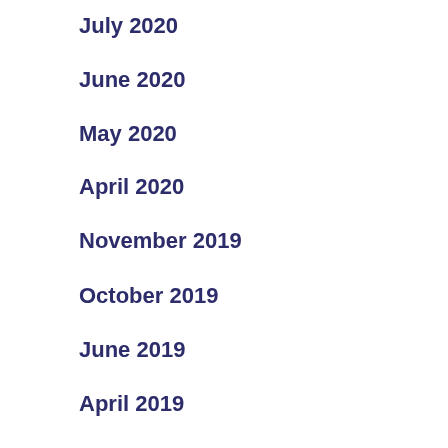July 2020
June 2020
May 2020
April 2020
November 2019
October 2019
June 2019
April 2019